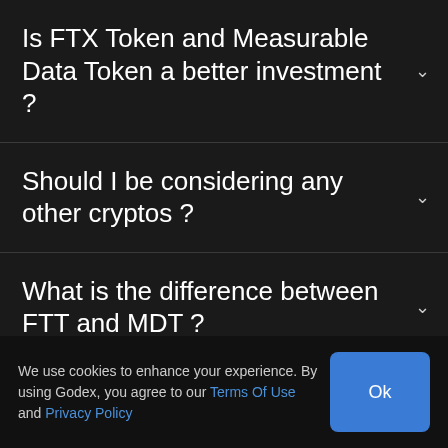Is FTX Token and Measurable Data Token a better investment ?
Should I be considering any other cryptos ?
What is the difference between FTT and MDT ?
We use cookies to enhance your experience. By using Godex, you agree to our Terms Of Use and Privacy Policy